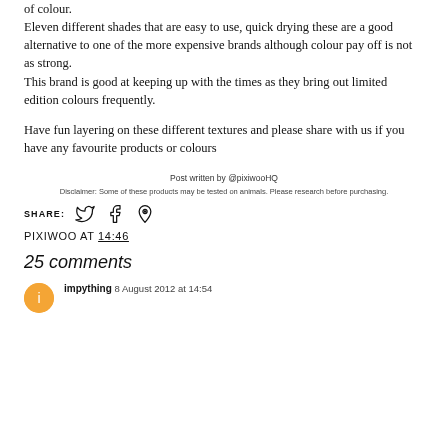of colour.
Eleven different shades that are easy to use, quick drying these are a good alternative to one of the more expensive brands although colour pay off is not as strong.
This brand is good at keeping up with the times as they bring out limited edition colours frequently.
Have fun layering on these different textures and please share with us if you have any favourite products or colours
Post written by @pixiwooHQ
Disclaimer: Some of these products may be tested on animals. Please research before purchasing.
SHARE:
PIXIWOO AT 14:46
25 comments
impything 8 August 2012 at 14:54